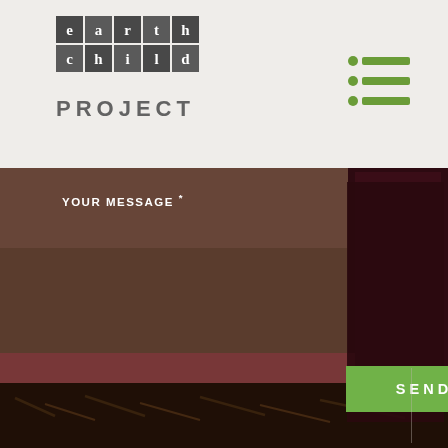[Figure (logo): Earth Child Project logo with grid letter blocks spelling 'earth child' and text 'PROJECT' below]
[Figure (other): Hamburger/menu icon with three green dots and green horizontal lines]
[Figure (photo): Background photo of earthy ground with red/pink fabric and outdoor natural setting]
YOUR MESSAGE *
WOULD YOU LIKE TO RECEIVE OUR BI-MONTHLY NEWSLETTER?
YES, PLEASE!
NO, THANKS
I'M ALREADY SUBSCRIBED
SEND